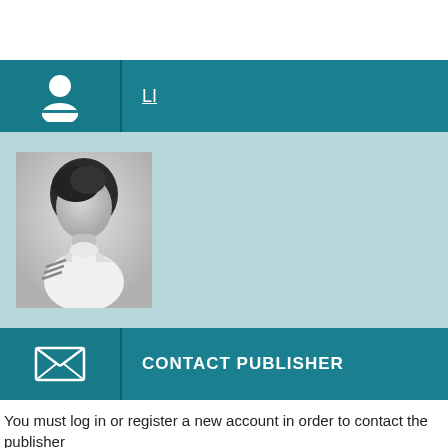[Figure (other): User profile header bar with person silhouette icon and underlined text 'LI' on teal background]
[Figure (photo): Generic placeholder profile photo of a person silhouette with dark hair and white/gray clothing]
[Figure (other): Contact publisher bar with envelope/mail icon and text 'CONTACT PUBLISHER' on teal background]
You must log in or register a new account in order to contact the publisher